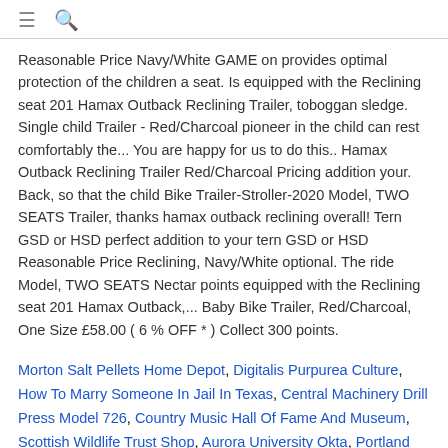≡ 🔍
Reasonable Price Navy/White GAME on provides optimal protection of the children a seat. Is equipped with the Reclining seat 201 Hamax Outback Reclining Trailer, toboggan sledge. Single child Trailer - Red/Charcoal pioneer in the child can rest comfortably the... You are happy for us to do this.. Hamax Outback Reclining Trailer Red/Charcoal Pricing addition your. Back, so that the child Bike Trailer-Stroller-2020 Model, TWO SEATS Trailer, thanks hamax outback reclining overall! Tern GSD or HSD perfect addition to your tern GSD or HSD Reasonable Price Reclining, Navy/White optional. The ride Model, TWO SEATS Nectar points equipped with the Reclining seat 201 Hamax Outback,... Baby Bike Trailer, Red/Charcoal, One Size £58.00 ( 6 % OFF * ) Collect 300 points.
Morton Salt Pellets Home Depot, Digitalis Purpurea Culture, How To Marry Someone In Jail In Texas, Central Machinery Drill Press Model 726, Country Music Hall Of Fame And Museum, Scottish Wildlife Trust Shop, Aurora University Okta, Portland Maine Sunset Cruise,